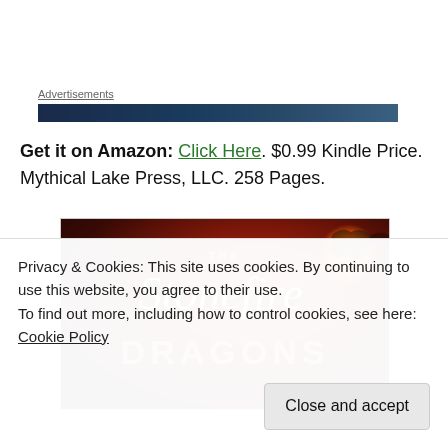Advertisements
Get it on Amazon: Click Here. $0.99 Kindle Price. Mythical Lake Press, LLC. 258 Pages.
[Figure (illustration): Book cover for 'The Stonefire Dragons' with dark red/orange fiery background and a dragon silhouette in the upper right, with ornate white script title text]
Privacy & Cookies: This site uses cookies. By continuing to use this website, you agree to their use.
To find out more, including how to control cookies, see here: Cookie Policy
Close and accept